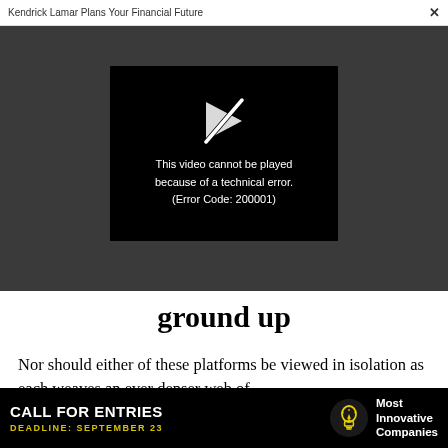Kendrick Lamar Plans Your Financial Future  ×
[Figure (screenshot): Video player error screen with broken play button icon and text: 'This video cannot be played because of a technical error. (Error Code: 200001)' on black background, set within a dark gray browser area.]
ground up
Nor should either of these platforms be viewed in isolation as each weaves an ever denser web of
[Figure (infographic): Advertisement banner: 'CALL FOR ENTRIES' in white bold text, 'DEADLINE: SEPTEMBER 23' in yellow, lightbulb icon, 'Most Innovative Companies' in white text on black background.]